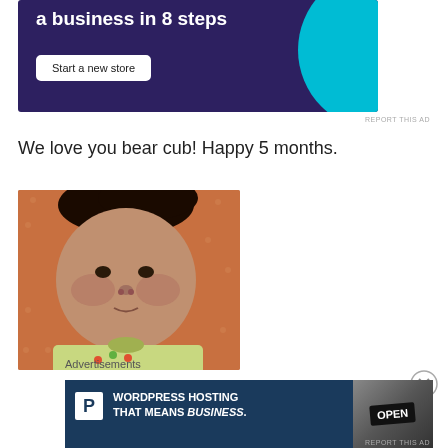[Figure (illustration): Purple/dark blue advertisement banner with text 'a business in 8 steps', a 'Start a new store' button, and a cyan decorative circle arc on the right side]
REPORT THIS AD
We love you bear cub! Happy 5 months.
[Figure (photo): Close-up photo of a baby's face lying on an orange/pink polka-dot background, wearing a light yellow/green onesie]
Advertisements
[Figure (illustration): WordPress hosting advertisement with dark blue background, white P logo, text 'WORDPRESS HOSTING THAT MEANS BUSINESS.' and an OPEN sign photo on the right]
REPORT THIS AD